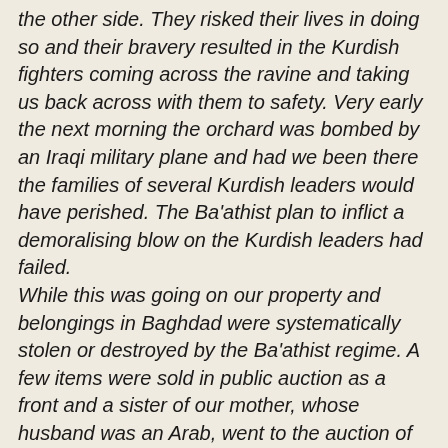the other side. They risked their lives in doing so and their bravery resulted in the Kurdish fighters coming across the ravine and taking us back across with them to safety. Very early the next morning the orchard was bombed by an Iraqi military plane and had we been there the families of several Kurdish leaders would have perished. The Ba'athist plan to inflict a demoralising blow on the Kurdish leaders had failed. While this was going on our property and belongings in Baghdad were systematically stolen or destroyed by the Ba'athist regime. A few items were sold in public auction as a front and a sister of our mother, whose husband was an Arab, went to the auction of our household effects. She bought a framed photograph of you and when she went to leave the house an officer stopped her and taking the framed picture from her he said, "you obviously only want the frame," before kicking out the glass and the photograph and handing back the empty frame! A day after we were taken from home and sent north, another group, including the family of